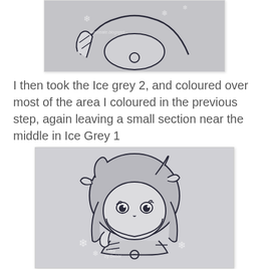[Figure (illustration): Partial top view of an anime-style character coloring in progress, showing line art with grey shading, with a watermark from a crafting blog]
I then took the Ice grey 2, and coloured over most of the area I coloured in the previous step, again leaving a small section near the middle in Ice Grey 1
[Figure (illustration): Anime-style girl character with short hair and bows, holding something, coloured with light grey (Ice Grey 2) marker shading leaving a small section near the middle in Ice Grey 1, with watermark snowflake decorations and blog name]